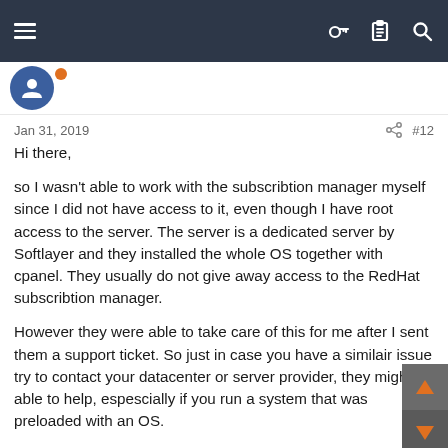Navigation bar with hamburger menu and icons
[Figure (other): User avatar circle (dark blue) with orange badge indicator]
Jan 31, 2019   < share   #12
Hi there,

so I wasn't able to work with the subscribtion manager myself since I did not have access to it, even though I have root access to the server. The server is a dedicated server by Softlayer and they installed the whole OS together with cpanel. They usually do not give away access to the RedHat subscribtion manager.

However they were able to take care of this for me after I sent them a support ticket. So just in case you have a similair issue try to contact your datacenter or server provider, they might be able to help, espescially if you run a system that was preloaded with an OS.

For the migration itself, I had to run it a couple of times. The first time it migrated fine once all repos were there, but PHP was not interpreted. It looked like PHP was missing. So I reverted back to EA3 and migrated again. I also did a full server reboot. After the